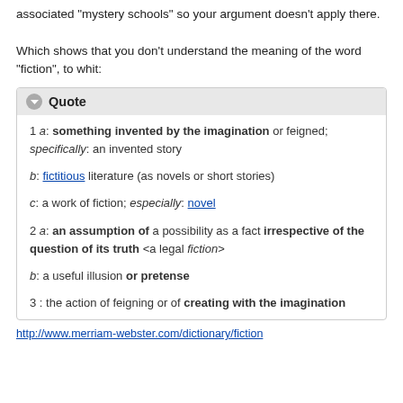associated "mystery schools" so your argument doesn't apply there.

Which shows that you don't understand the meaning of the word "fiction", to whit:
Quote
1 a: something invented by the imagination or feigned; specifically: an invented story

b: fictitious literature (as novels or short stories)

c: a work of fiction; especially: novel

2 a: an assumption of a possibility as a fact irrespective of the question of its truth <a legal fiction>

b: a useful illusion or pretense

3 : the action of feigning or of creating with the imagination
http://www.merriam-webster.com/dictionary/fiction